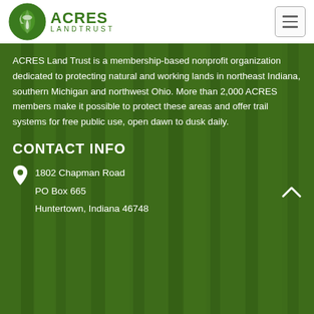[Figure (logo): ACRES Land Trust logo with circular green acorn/leaf icon and green text reading ACRES LANDTRUST]
ACRES Land Trust is a membership-based nonprofit organization dedicated to protecting natural and working lands in northeast Indiana, southern Michigan and northwest Ohio. More than 2,000 ACRES members make it possible to protect these areas and offer trail systems for free public use, open dawn to dusk daily.
CONTACT INFO
1802 Chapman Road
PO Box 665
Huntertown, Indiana 46748